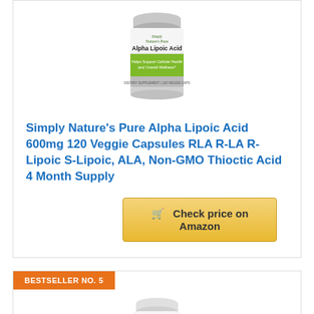[Figure (photo): Simply Nature's Pure Alpha Lipoic Acid product bottle with green label]
Simply Nature's Pure Alpha Lipoic Acid 600mg 120 Veggie Capsules RLA R-LA R-Lipoic S-Lipoic, ALA, Non-GMO Thioctic Acid 4 Month Supply
Check price on Amazon
BESTSELLER NO. 5
[Figure (photo): White supplement bottle, second product, partially visible]